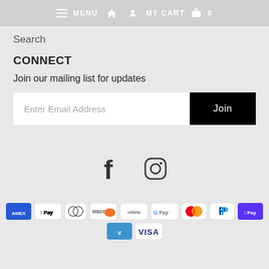≡ MENU  🏠  👤  MY CART  🛍  0
Search
CONNECT
Join our mailing list for updates
Enter Email Address | Join
[Figure (infographic): Facebook and Instagram social media icons]
[Figure (infographic): Payment method icons: American Express, Apple Pay, Diners Club, Discover, Meta Pay, Google Pay, Mastercard, PayPal, Shop Pay, Venmo, Visa]